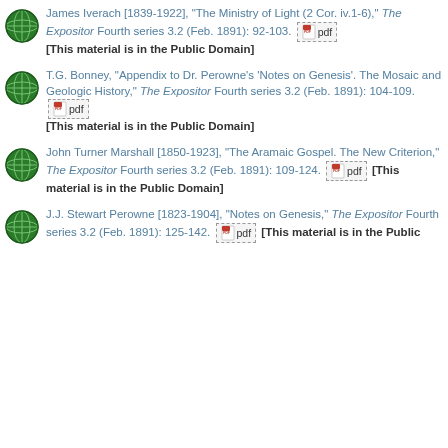James Iverach [1839-1922], "The Ministry of Light (2 Cor. iv.1-6)," The Expositor Fourth series 3.2 (Feb. 1891): 92-103. [pdf] [This material is in the Public Domain]
T.G. Bonney, "Appendix to Dr. Perowne's 'Notes on Genesis'. The Mosaic and Geologic History," The Expositor Fourth series 3.2 (Feb. 1891): 104-109. [pdf] [This material is in the Public Domain]
John Turner Marshall [1850-1923], "The Aramaic Gospel. The New Criterion," The Expositor Fourth series 3.2 (Feb. 1891): 109-124. [pdf] [This material is in the Public Domain]
J.J. Stewart Perowne [1823-1904], "Notes on Genesis," The Expositor Fourth series 3.2 (Feb. 1891): 125-142. [pdf] [This material is in the Public